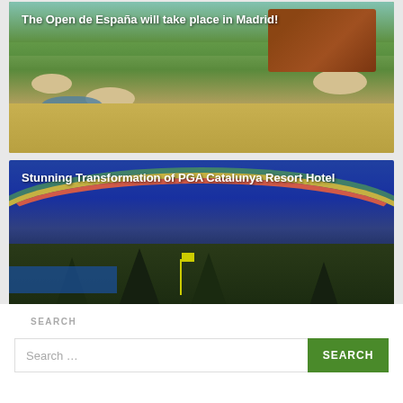[Figure (photo): Aerial view of a golf course with green fairways, sand bunkers, and water hazard, with a large building/clubhouse visible in the background under a blue sky.]
The Open de España will take place in Madrid!
[Figure (photo): Dramatic photo of PGA Catalunya Resort golf course at dusk or after a storm, with a vivid rainbow arching over dark pine trees and a blue stormy sky, a golf flag visible in the foreground.]
Stunning Transformation of PGA Catalunya Resort Hotel
SEARCH
Search …